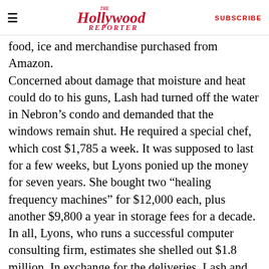The Hollywood Reporter | SUBSCRIBE
food, ice and merchandise purchased from Amazon. Concerned about damage that moisture and heat could do to his guns, Lash had turned off the water in Nebron's condo and demanded that the windows remain shut. He required a special chef, which cost $1,785 a week. It was supposed to last for a few weeks, but Lyons ponied up the money for seven years. She bought two “healing frequency machines” for $12,000 each, plus another $9,800 a year in storage fees for a decade. In all, Lyons, who runs a successful computer consulting firm, estimates she shelled out $1.8 million. In exchange for the deliveries, Lash and Nebron gave Lyons trash bags, which they had sorted and labeled in one of three ways: “normal,” “elsewhere” or “elsewhere separate”